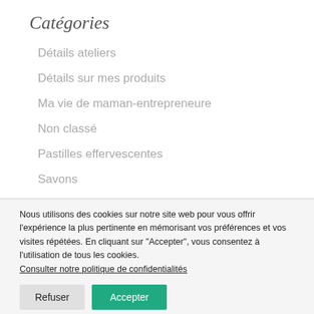Catégories
Détails ateliers
Détails sur mes produits
Ma vie de maman-entrepreneure
Non classé
Pastilles effervescentes
Savons
Trucs/recettes
Nous utilisons des cookies sur notre site web pour vous offrir l'expérience la plus pertinente en mémorisant vos préférences et vos visites répétées. En cliquant sur "Accepter", vous consentez à l'utilisation de tous les cookies. Consulter notre politique de confidentialités
Refuser
Accepter